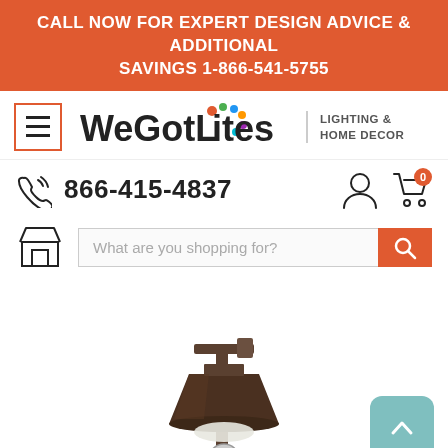CALL NOW FOR EXPERT DESIGN ADVICE & ADDITIONAL SAVINGS 1-866-541-5755
[Figure (logo): WeGotLites Lighting & Home Decor logo with hamburger menu button]
866-415-4837
What are you shopping for?
[Figure (photo): Outdoor post lamp with dark bronze conical shade on a pole, product photo on white background]